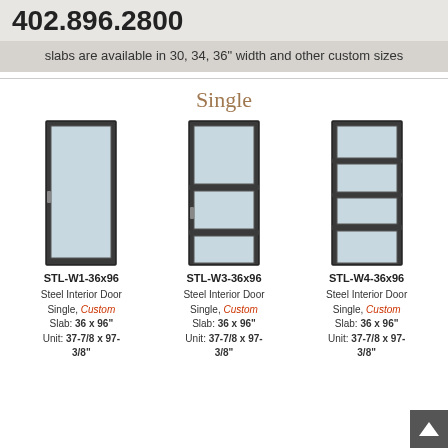402.896.2800
slabs are available in 30, 34, 36" width and other custom sizes
Single
[Figure (illustration): Three single steel interior door diagrams side by side: STL-W1-36x96 (full glass panel), STL-W3-36x96 (two glass panels), STL-W4-36x96 (four glass panels)]
STL-W1-36x96
Steel Interior Door Single, Custom
Slab: 36 x 96"
Unit: 37-7/8 x 97-3/8"
STL-W3-36x96
Steel Interior Door Single, Custom
Slab: 36 x 96"
Unit: 37-7/8 x 97-3/8"
STL-W4-36x96
Steel Interior Door Single, Custom
Slab: 36 x 96"
Unit: 37-7/8 x 97-3/8"